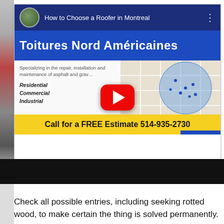[Figure (screenshot): YouTube video thumbnail for 'How to Choose a Roofer in Montreal' by Toitures Nord Américaines. Shows a dark blue top bar with a circular thumbnail and title, a blue banner with the company name in bold white text, a content area with text about specializing in repair/installation/maintenance of asphalt and gravel roofing, listing Residential, Commercial, Industrial, overlaid with a YouTube play button and a map of Montreal region. A yellow bar at the bottom reads 'Call for a FREE Estimate 514-935-2730'.]
Check all possible entries, including seeking rotted wood, to make certain the thing is solved permanently.